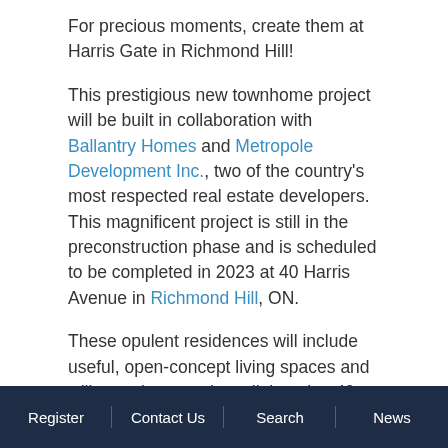For precious moments, create them at Harris Gate in Richmond Hill!
This prestigious new townhome project will be built in collaboration with Ballantry Homes and Metropole Development Inc., two of the country's most respected real estate developers. This magnificent project is still in the preconstruction phase and is scheduled to be completed in 2023 at 40 Harris Avenue in Richmond Hill, ON.
These opulent residences will include useful, open-concept living spaces and will soar three stories tall, housing 49 well-crafted units. Each unit has outstanding 10-foot ceilings on the main floor and 9-foot ceilings on the second and ground floors.
Register | Contact Us | Search | News